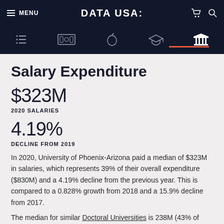MENU | DATA USA: | [cart] [search]
Salary Expenditure
$323M
2020 SALARIES
4.19%
DECLINE FROM 2019
In 2020, University of Phoenix-Arizona paid a median of $323M in salaries, which represents 39% of their overall expenditure ($830M) and a 4.19% decline from the previous year. This is compared to a 0.828% growth from 2018 and a 15.9% decline from 2017.
The median for similar Doctoral Universities is 238M (43% of overall expenditures).